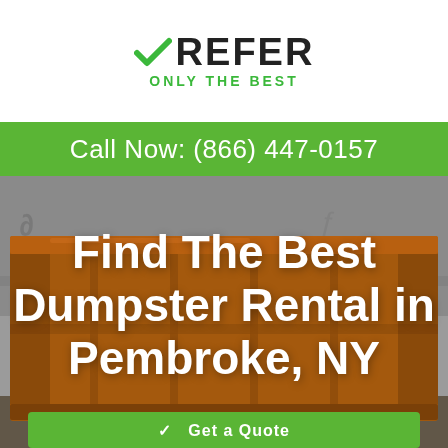[Figure (logo): XRefer logo with green checkmark and text XREFER in bold black, subtitle ONLY THE BEST in green]
Call Now: (866) 447-0157
[Figure (photo): Large orange/brown metal dumpster container against a graffiti wall background]
Find The Best Dumpster Rental in Pembroke, NY